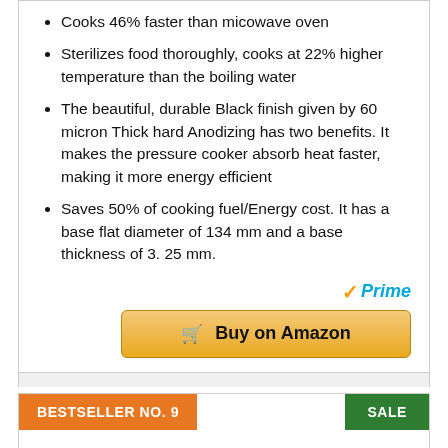Cooks 46% faster than micowave oven
Sterilizes food thoroughly, cooks at 22% higher temperature than the boiling water
The beautiful, durable Black finish given by 60 micron Thick hard Anodizing has two benefits. It makes the pressure cooker absorb heat faster, making it more energy efficient
Saves 50% of cooking fuel/Energy cost. It has a base flat diameter of 134 mm and a base thickness of 3. 25 mm.
[Figure (logo): Amazon Prime logo with checkmark and 'Prime' text in blue italic, followed by a gold 'Buy on Amazon' button with cart icon]
BESTSELLER NO. 9
SALE
[Figure (photo): Partial image of a bicycle handlebars and front section visible at bottom of page]